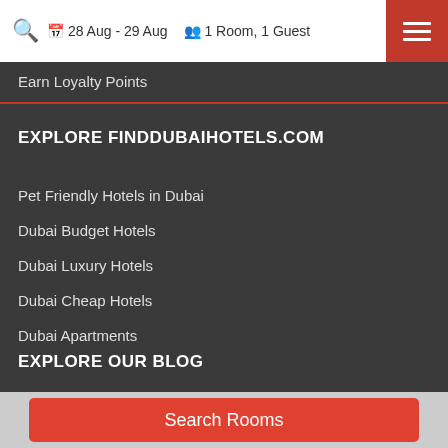28 Aug - 29 Aug  |  1 Room, 1 Guest
Earn Loyalty Points
EXPLORE FINDDUBAIHOTELS.COM
Pet Friendly Hotels in Dubai
Dubai Budget Hotels
Dubai Luxury Hotels
Dubai Cheap Hotels
Dubai Apartments
EXPLORE OUR BLOG
Search Rooms